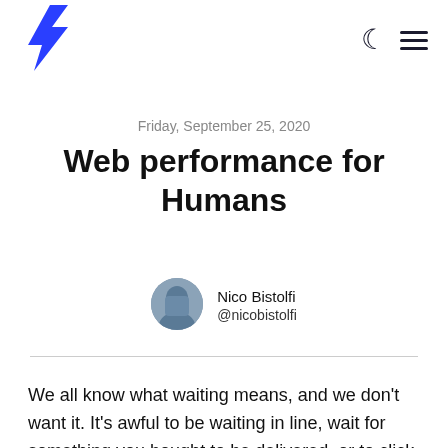Logo and navigation icons (moon, hamburger menu)
Friday, September 25, 2020
Web performance for Humans
Nico Bistolfi @nicobistolfi
We all know what waiting means, and we don't want it. It's awful to be waiting in line, wait for something you bought to be delivered, or to click